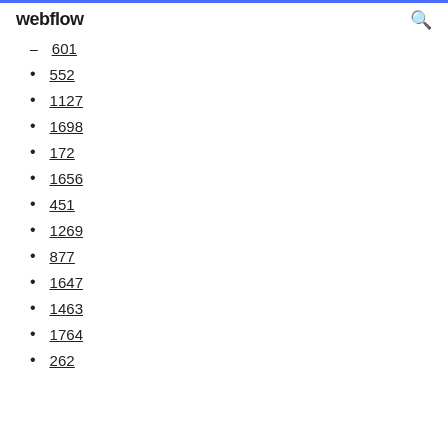webflow
601
552
1127
1698
172
1656
451
1269
877
1647
1463
1764
262